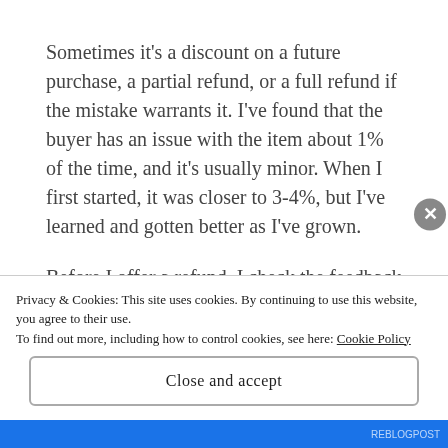Sometimes it's a discount on a future purchase, a partial refund, or a full refund if the mistake warrants it. I've found that the buyer has an issue with the item about 1% of the time, and it's usually minor. When I first started, it was closer to 3-4%, but I've learned and gotten better as I've grown.
Before I offer a refund, I check the feedback that the buyer has left for other sellers. If they appear to be an honest person, I'm more than willing to work with them. Two times in the past year I've had buyers try to take advantage of me, and when that
Privacy & Cookies: This site uses cookies. By continuing to use this website, you agree to their use.
To find out more, including how to control cookies, see here: Cookie Policy
Close and accept